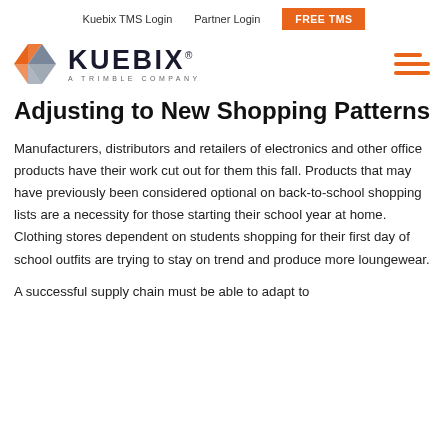Kuebix TMS Login   Partner Login   FREE TMS
[Figure (logo): Kuebix logo with orange and grey geometric X shape and text 'KUEBIX A TRIMBLE COMPANY']
Adjusting to New Shopping Patterns
Manufacturers, distributors and retailers of electronics and other office products have their work cut out for them this fall. Products that may have previously been considered optional on back-to-school shopping lists are a necessity for those starting their school year at home. Clothing stores dependent on students shopping for their first day of school outfits are trying to stay on trend and produce more loungewear.
A successful supply chain must be able to adapt to